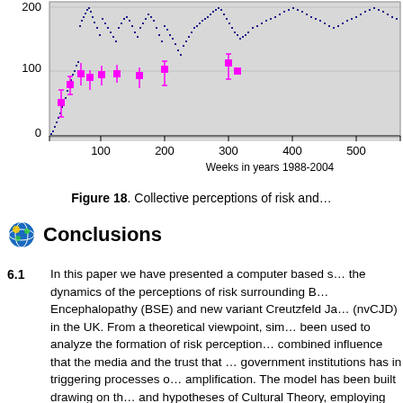[Figure (continuous-plot): Scatter/time-series chart showing collective perceptions of risk over weeks in years 1988-2004. X-axis: 0 to ~540+ weeks. Y-axis: 0 to 200+. Two data series: navy blue dots and magenta/pink squares with error bars. Dense cluster of navy dots across the timeline, pink squares clustered mostly in first 200 weeks with some around week 300.]
Figure 18. Collective perceptions of risk and…
Conclusions
6.1   In this paper we have presented a computer based s… the dynamics of the perceptions of risk surrounding B… Encephalopathy (BSE) and new variant Creutzfeld Ja… (nvCJD) in the UK. From a theoretical viewpoint, sim… been used to analyze the formation of risk perception… combined influence that the media and the trust that … government institutions has in triggering processes o… amplification. The model has been built drawing on th… and hypotheses of Cultural Theory, employing the ca…